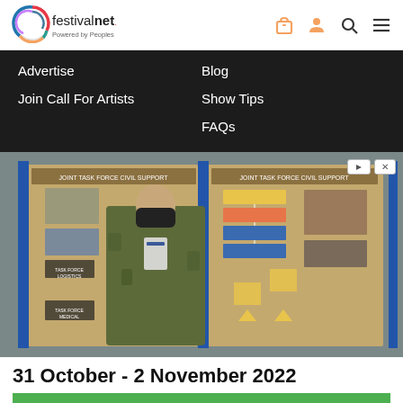[Figure (logo): FestivalNet logo - circular multi-color swirl icon with text 'festivalnet. Powered by Peoples']
[Figure (illustration): Navigation icons: shopping bag, person, search, hamburger menu in orange color]
Advertise
Blog
Join Call For Artists
Show Tips
FAQs
[Figure (photo): Military service member wearing camouflage uniform and black face mask standing in front of 'Joint Task Force Civil Support' exhibition booths/posters at an indoor event]
31 October - 2 November 2022
OPEN